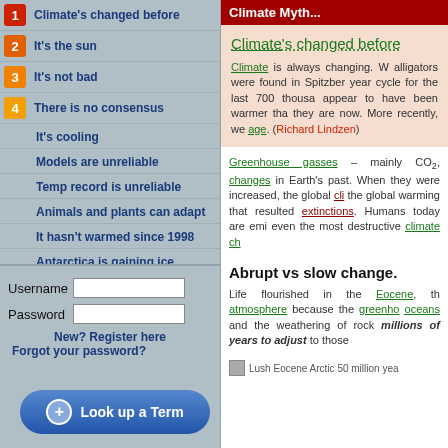1 Climate's changed before
2 It's the sun
3 It's not bad
4 There is no consensus
It's cooling
Models are unreliable
Temp record is unreliable
Animals and plants can adapt
It hasn't warmed since 1998
Antarctica is gaining ice
View All Arguments...
Username
Password
New? Register here
Forgot your password?
Look up a Term
Climate Myth...
Climate's changed before
Climate is always changing. W alligators were found in Spitzber year cycle for the last 700 thousa appear to have been warmer tha they are now. More recently, we age. (Richard Lindzen)
Greenhouse gasses – mainly CO2, changes in Earth's past. When they were increased, the global cli the global warming that resulted extinctions. Humans today are emi even the most destructive climate ch
Abrupt vs slow change.
Life flourished in the Eocene, th atmosphere because the greenho oceans and the weathering of rock millions of years to adjust to those
Lush Eocene Arctic 50 million yea